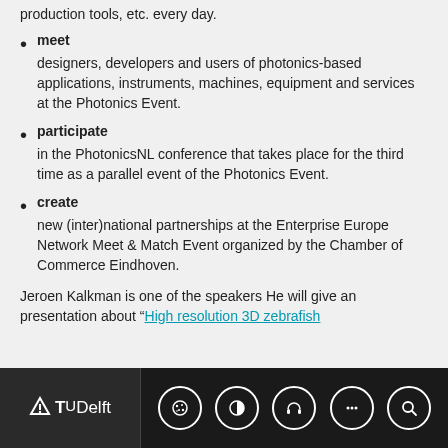production tools, etc. every day.
meet — designers, developers and users of photonics-based applications, instruments, machines, equipment and services at the Photonics Event.
participate — in the PhotonicsNL conference that takes place for the third time as a parallel event of the Photonics Event.
create — new (inter)national partnerships at the Enterprise Europe Network Meet & Match Event organized by the Chamber of Commerce Eindhoven.
Jeroen Kalkman is one of the speakers He will give an presentation about “High resolution 3D zebrafish
TU Delft footer navigation bar